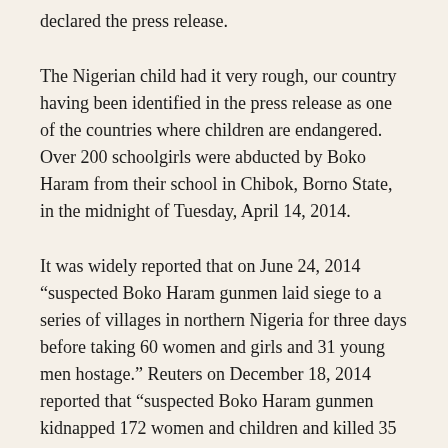declared the press release.
The Nigerian child had it very rough, our country having been identified in the press release as one of the countries where children are endangered. Over 200 schoolgirls were abducted by Boko Haram from their school in Chibok, Borno State, in the midnight of Tuesday, April 14, 2014.
It was widely reported that on June 24, 2014 “suspected Boko Haram gunmen laid siege to a series of villages in northern Nigeria for three days before taking 60 women and girls and 31 young men hostage.” Reuters on December 18, 2014 reported that “suspected Boko Haram gunmen kidnapped 172 women and children and killed 35 other people on Sunday during a raid on the northeastern Nigerian village of Gumsuri, residents said on Thursday.”
The year ended on a disturbing note for the Nigerian child. The media reported that “suspected Boko Haram gunmen